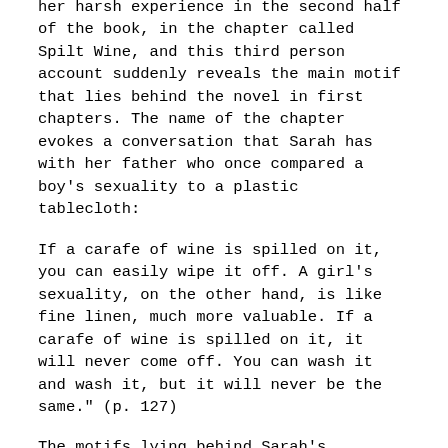her harsh experience in the second half of the book, in the chapter called Spilt Wine, and this third person account suddenly reveals the main motif that lies behind the novel in first chapters. The name of the chapter evokes a conversation that Sarah has with her father who once compared a boy's sexuality to a plastic tablecloth:
If a carafe of wine is spilled on it, you can easily wipe it off. A girl's sexuality, on the other hand, is like fine linen, much more valuable. If a carafe of wine is spilled on it, it will never come off. You can wash it and wash it, but it will never be the same." (p. 127)
The motifs lying behind Sarah's continuous attempts to start her narrative are at this point of the novel put under more light. Her false starts are, in reality, her attempts to wash the red spots from her linen.
The al-Kharrat family is also affected by the civil war which at one point of the story forces them to leave to the mountains and abandon their apartments. Mrs al-Farouk, the closest friend of Osama's mother, is forced to return back to Italy with her younger daughter. Fatima also goes to Italy. Osama's eldest aunt